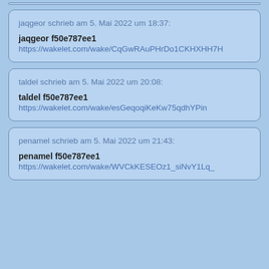jaqgeor schrieb am 5. Mai 2022 um 18:37:

jaqgeor f50e787ee1
https://wakelet.com/wake/CqGwRAuPHrDo1CKHXHH7H
taldel schrieb am 5. Mai 2022 um 20:08:

taldel f50e787ee1
https://wakelet.com/wake/esGeqoqiKeKw75qdhYPin
penamel schrieb am 5. Mai 2022 um 21:43:

penamel f50e787ee1
https://wakelet.com/wake/WVCkKESEOz1_siNvY1Lq_